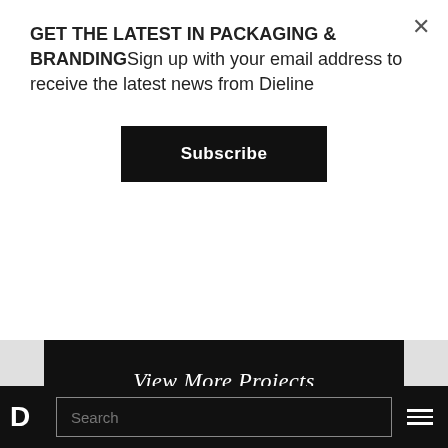GET THE LATEST IN PACKAGING & BRANDINGSign up with your email address to receive the latest news from Dieline
Subscribe
View More Projects
[Figure (illustration): IDEA branding image with bold white text 'IDEA' on black background with yellow grid accent]
D  Search  ☰